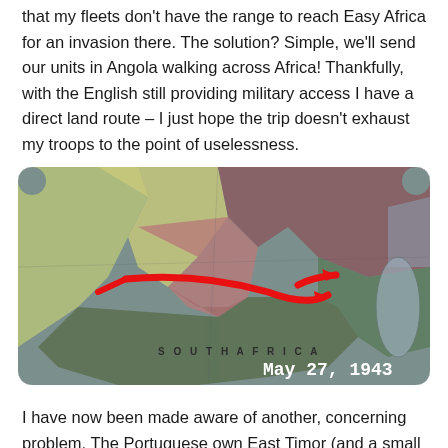that my fleets don't have the range to reach Easy Africa for an invasion there. The solution? Simple, we'll send our units in Angola walking across Africa! Thankfully, with the English still providing military access I have a direct land route – I just hope the trip doesn't exhaust my troops to the point of uselessness.
[Figure (screenshot): A map screenshot from a strategy game showing southern Africa with colored territories and a red arrow indicating a troop movement route across Africa toward East Africa. The date 'May 27, 1943' is shown in white text in the bottom right corner. 'SOUTH AFRICA' is labeled in the lower portion of the map.]
I have now been made aware of another, concerning problem. The Portuguese own East Timor (and a small